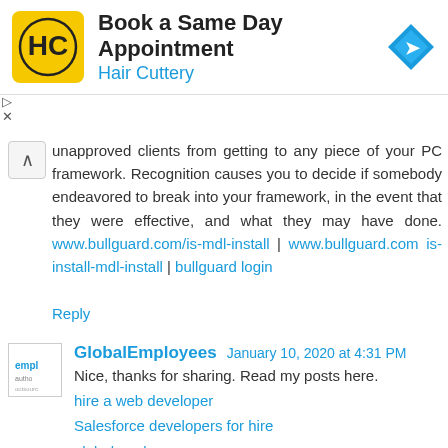[Figure (other): Hair Cuttery advertisement banner with logo and navigation icon. Title: 'Book a Same Day Appointment', subtitle: 'Hair Cuttery']
unapproved clients from getting to any piece of your PC framework. Recognition causes you to decide if somebody endeavored to break into your framework, in the event that they were effective, and what they may have done. www.bullguard.com/is-mdl-install | www.bullguard.com is-install-mdl-install | bullguard login
Reply
GlobalEmployees January 10, 2020 at 4:31 PM
Nice, thanks for sharing. Read my posts here.
hire a web developer
Salesforce developers for hire
globalemployees
globalemployees
Reply